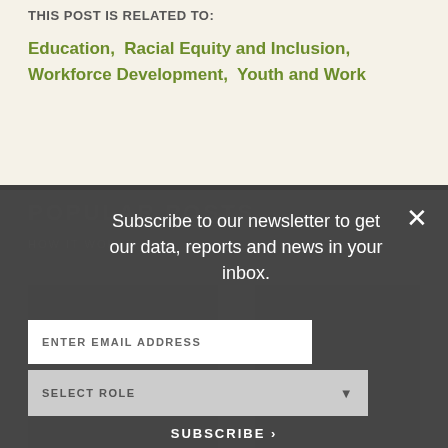THIS POST IS RELATED TO:
Education,  Racial Equity and Inclusion,  Workforce Development,  Youth and Work
POPULAR POSTS
Subscribe to our newsletter to get our data, reports and news in your inbox.
ENTER EMAIL ADDRESS
SELECT ROLE
SUBSCRIBE ›